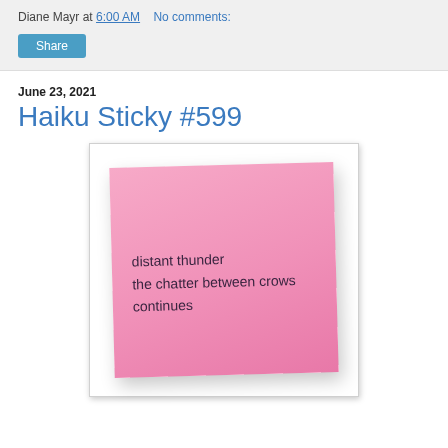Diane Mayr at 6:00 AM    No comments:
Share
June 23, 2021
Haiku Sticky #599
[Figure (photo): A pink sticky note tilted slightly, containing haiku text: 'distant thunder / the chatter between crows / continues', displayed on a white background inside a light gray bordered frame.]